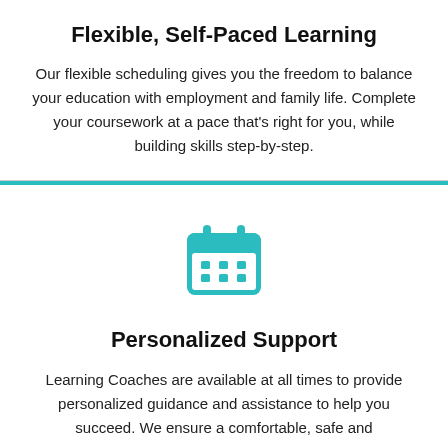Flexible, Self-Paced Learning
Our flexible scheduling gives you the freedom to balance your education with employment and family life. Complete your coursework at a pace that's right for you, while building skills step-by-step.
[Figure (illustration): Teal calendar icon with grid of dots representing dates]
Personalized Support
Learning Coaches are available at all times to provide personalized guidance and assistance to help you succeed. We ensure a comfortable, safe and